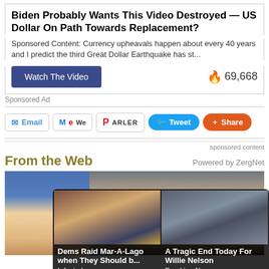Biden Probably Wants This Video Destroyed — US Dollar On Path Towards Replacement?
Sponsored Content: Currency upheavals happen about every 40 years and I predict the third Great Dollar Earthquake has st...
Watch The Video   🔥 69,668
Sponsored Ad
Email  MeWe  PARLER  Tweet  Share
sponsored content
From the Web   Powered by ZergNet
[Figure (photo): Two side-by-side thumbnail photos of people]
[Figure (infographic): Overlay popup with two news thumbnails: 'Dems Raid Mar-A-Lago when They Should b... - Infected' and 'A Tragic End Today For Willie Nelson - Breaking News']